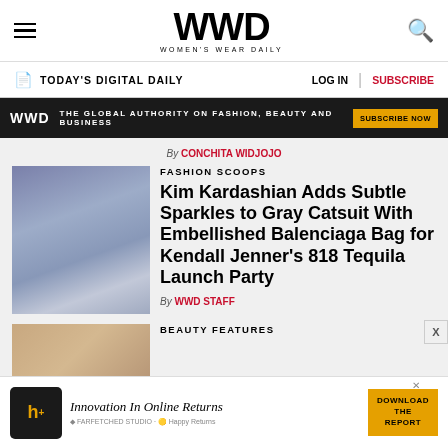WWD — Women's Wear Daily
TODAY'S DIGITAL DAILY | LOG IN | SUBSCRIBE
WWD — THE GLOBAL AUTHORITY ON FASHION, BEAUTY AND BUSINESS — SUBSCRIBE NOW
By CONCHITA WIDJOJO
[Figure (photo): Kim Kardashian in gray halter catsuit]
FASHION SCOOPS
Kim Kardashian Adds Subtle Sparkles to Gray Catsuit With Embellished Balenciaga Bag for Kendall Jenner's 818 Tequila Launch Party
By WWD STAFF
[Figure (photo): Beauty features article thumbnail]
BEAUTY FEATURES
[Figure (infographic): Advertisement: Innovation In Online Returns — Happy Returns — DOWNLOAD THE REPORT]